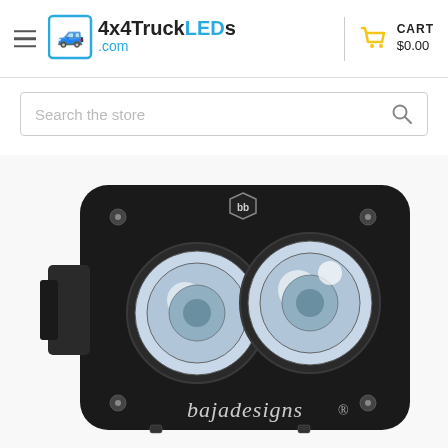4x4TruckLEDs.com | CART $0.00
[Figure (screenshot): Search bar with placeholder text 'Search the store' and a magnifying glass icon on the right]
[Figure (photo): Baja Designs dual-lens LED light pod in black housing with 'bajadesigns' script logo on the front face, shown at a slight angle. Two large circular clear lenses are visible side by side. The Baja Designs hexagon logo badge is at the top center of the housing.]